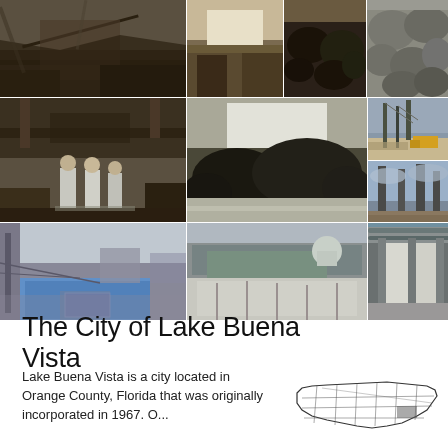[Figure (photo): Grid of industrial/environmental remediation site photographs showing workers in protective gear, contaminated buildings, industrial equipment, and cleanup operations]
The City of Lake Buena Vista
Lake Buena Vista is a city located in Orange County, Florida that was originally incorporated in 1967. O...
[Figure (map): Outline map of what appears to be North Carolina with county boundaries shown, with one region highlighted]